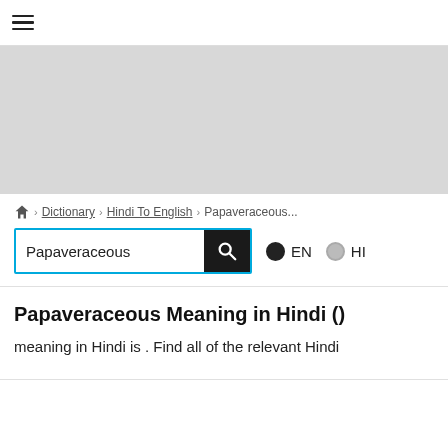☰ (hamburger menu icon)
[Figure (other): Gray advertisement banner area]
🏠 › Dictionary › Hindi To English › Papaveraceous...
Papaveraceous [search box] EN ● HI
Papaveraceous Meaning in Hindi ()
meaning in Hindi is . Find all of the relevant Hindi